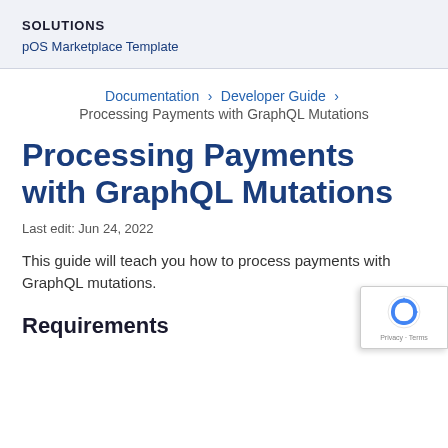SOLUTIONS
pOS Marketplace Template
Documentation > Developer Guide > Processing Payments with GraphQL Mutations
Processing Payments with GraphQL Mutations
Last edit: Jun 24, 2022
This guide will teach you how to process payments with GraphQL mutations.
Requirements